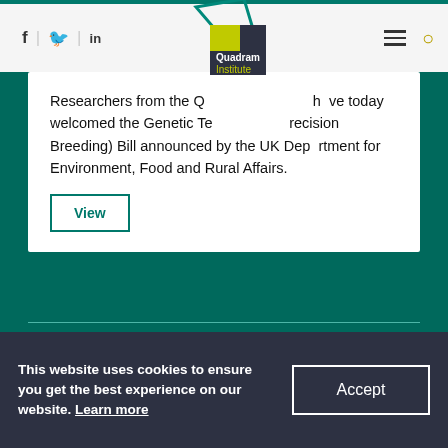[Figure (logo): Quadram Institute logo with teal geometric shape and dark square with yellow rectangle]
Researchers from the Q[uadram Institute] ha[ve] today welcomed the Genetic Te[chnology (P]recision Breeding) Bill announced by the UK Department for Environment, Food and Rural Affairs.
View
Showing 10 of 166 news
Page:
This website uses cookies to ensure you get the best experience on our website. Learn more
Accept